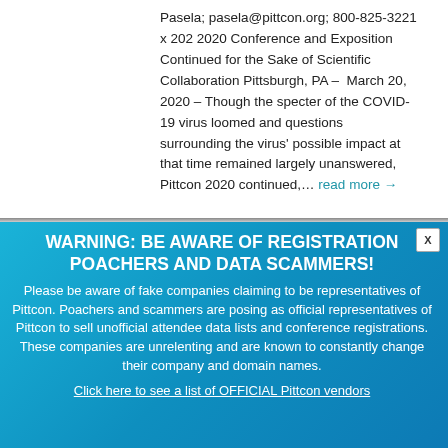Pasela; pasela@pittcon.org; 800-825-3221 x 202 2020 Conference and Exposition Continued for the Sake of Scientific Collaboration Pittsburgh, PA – March 20, 2020 – Though the specter of the COVID-19 virus loomed and questions surrounding the virus' possible impact at that time remained largely unanswered, Pittcon 2020 continued,… read more →
WARNING: BE AWARE OF REGISTRATION POACHERS AND DATA SCAMMERS! Please be aware of fake companies claiming to be representatives of Pittcon. Poachers and scammers are posing as official representatives of Pittcon to sell unofficial attendee data lists and conference registrations. These companies are unrelenting and are known to constantly change their company and domain names. Click here to see a list of OFFICIAL Pittcon vendors